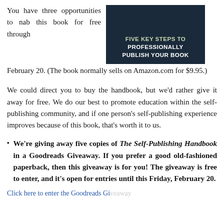You have three opportunities to nab this book for free through February 20. (The book normally sells on Amazon.com for $9.95.)
[Figure (illustration): Book cover image with dark background showing text 'FIVE KEY STEPS TO PROFESSIONALLY PUBLISH YOUR BOOK']
We could direct you to buy the handbook, but we'd rather give it away for free. We do our best to promote education within the self-publishing community, and if one person's self-publishing experience improves because of this book, that's worth it to us.
We're giving away five copies of The Self-Publishing Handbook in a Goodreads Giveaway. If you prefer a good old-fashioned paperback, then this giveaway is for you! The giveaway is free to enter, and it's open for entries until this Friday, February 20.
Click here to enter the Goodreads Giveaway